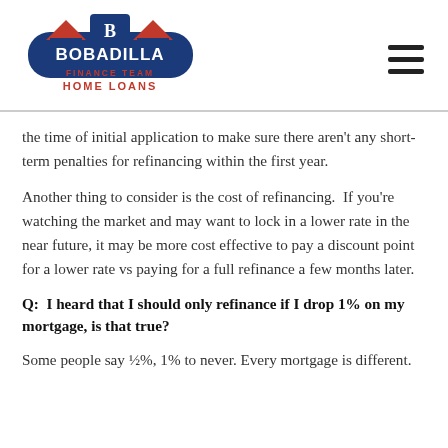[Figure (logo): Bobadilla Finance Team Home Loans logo with blue house/building graphic and red/blue text]
the time of initial application to make sure there aren't any short-term penalties for refinancing within the first year.
Another thing to consider is the cost of refinancing.  If you're watching the market and may want to lock in a lower rate in the near future, it may be more cost effective to pay a discount point for a lower rate vs paying for a full refinance a few months later.
Q:  I heard that I should only refinance if I drop 1% on my mortgage, is that true?
Some people say ½%, 1% to never. Every mortgage is different.